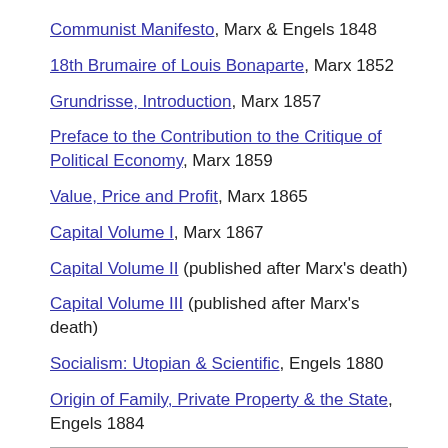Communist Manifesto, Marx & Engels 1848
18th Brumaire of Louis Bonaparte, Marx 1852
Grundrisse, Introduction, Marx 1857
Preface to the Contribution to the Critique of Political Economy, Marx 1859
Value, Price and Profit, Marx 1865
Capital Volume I, Marx 1867
Capital Volume II (published after Marx's death)
Capital Volume III (published after Marx's death)
Socialism: Utopian & Scientific, Engels 1880
Origin of Family, Private Property & the State, Engels 1884
If you are using these guides for an organised study group we are happy to add questions on your suggestion. If you find any of the questions we already